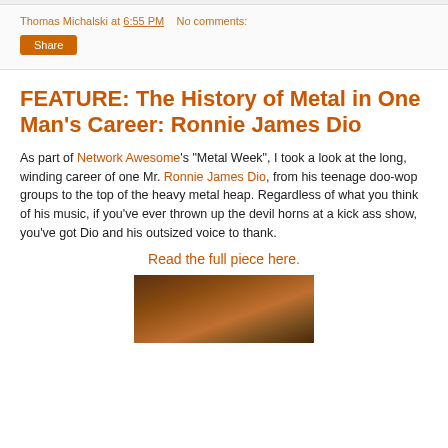Thomas Michalski at 6:55 PM   No comments:
Share
FEATURE: The History of Metal in One Man's Career: Ronnie James Dio
As part of Network Awesome's "Metal Week", I took a look at the long, winding career of one Mr. Ronnie James Dio, from his teenage doo-wop groups to the top of the heavy metal heap. Regardless of what you think of his music, if you've ever thrown up the devil horns at a kick ass show, you've got Dio and his outsized voice to thank.
Read the full piece here.
[Figure (photo): Dark brown/amber toned image, appears to be a photo related to the article]